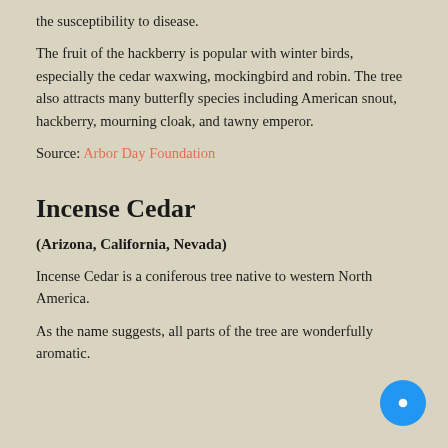the susceptibility to disease.
The fruit of the hackberry is popular with winter birds, especially the cedar waxwing, mockingbird and robin. The tree also attracts many butterfly species including American snout, hackberry, mourning cloak, and tawny emperor.
Source: Arbor Day Foundation
Incense Cedar
(Arizona, California, Nevada)
Incense Cedar is a coniferous tree native to western North America.
As the name suggests, all parts of the tree are wonderfully aromatic.